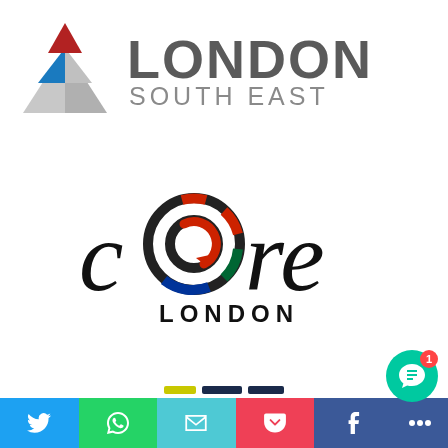[Figure (logo): London South East logo — pyramid shape with red, blue and grey triangles on left, and 'LONDON SOUTH EAST' text in grey on right]
[Figure (logo): Core London logo — stylised 'core' text in black with multicoloured circular icon (red, green, blue segments) replacing the letter 'o', with 'LONDON' below]
[Figure (infographic): Social share bar with coloured buttons: Twitter (blue), WhatsApp (green), Email (teal), Pocket (red), Facebook (dark blue), More (dark blue). A teal chat bubble with badge showing '1' is in the bottom right.]